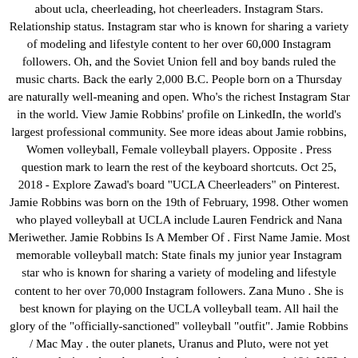about ucla, cheerleading, hot cheerleaders. Instagram Stars. Relationship status. Instagram star who is known for sharing a variety of modeling and lifestyle content to her over 60,000 Instagram followers. Oh, and the Soviet Union fell and boy bands ruled the music charts. Back the early 2,000 B.C. People born on a Thursday are naturally well-meaning and open. Who's the richest Instagram Star in the world. View Jamie Robbins' profile on LinkedIn, the world's largest professional community. See more ideas about Jamie robbins, Women volleyball, Female volleyball players. Opposite . Press question mark to learn the rest of the keyboard shortcuts. Oct 25, 2018 - Explore Zawad's board "UCLA Cheerleaders" on Pinterest. Jamie Robbins was born on the 19th of February, 1998. Other women who played volleyball at UCLA include Lauren Fendrick and Nana Meriwether. Jamie Robbins Is A Member Of . First Name Jamie. Most memorable volleyball match: State finals my junior year Instagram star who is known for sharing a variety of modeling and lifestyle content to her over 70,000 Instagram followers. Zana Muno . She is best known for playing on the UCLA volleyball team. All hail the glory of the "officially-sanctioned" volleyball "outfit". Jamie Robbins / Mac May . the outer planets, Uranus and Pluto, were not yet discovered, since the telescope had not yet been invented. 191. UCLA Women's Volleyball vs. USC @ Pauley Pavilion. ... Jamie Robbins. Instagram star who is known for sharing a variety of modeling and lifestyle content to her over 60,000 Instagram followers. 185. Log In Sign Up. See more ideas about jamie robbins, women.